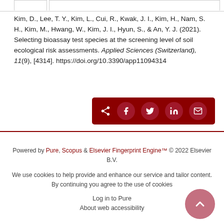Kim, D., Lee, T. Y., Kim, L., Cui, R., Kwak, J. I., Kim, H., Nam, S. H., Kim, M., Hwang, W., Kim, J. I., Hyun, S., & An, Y. J. (2021). Selecting bioassay test species at the screening level of soil ecological risk assessments. Applied Sciences (Switzerland), 11(9), [4314]. https://doi.org/10.3390/app11094314
[Figure (other): Social share bar with icons for share, Facebook, Twitter, LinkedIn, and email on a dark red background]
Powered by Pure, Scopus & Elsevier Fingerprint Engine™ © 2022 Elsevier B.V.
We use cookies to help provide and enhance our service and tailor content. By continuing you agree to the use of cookies
Log in to Pure
About web accessibility